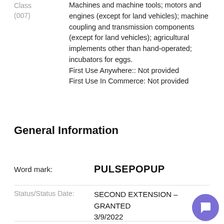Class (007): Machines and machine tools; motors and engines (except for land vehicles); machine coupling and transmission components (except for land vehicles); agricultural implements other than hand-operated; incubators for eggs. First Use Anywhere:: Not provided First Use In Commerce: Not provided
General Information
| Field | Value |
| --- | --- |
| Word mark: | PULSEPOPUP |
| Status/Status Date: | SECOND EXTENSION – GRANTED
3/9/2022 |